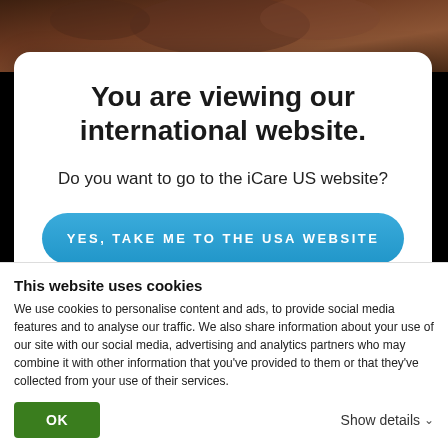[Figure (photo): Dark brown textured photo background (appears to be a person wearing dark clothing) visible at the top of the page behind the modal dialog.]
You are viewing our international website.
Do you want to go to the iCare US website?
YES, TAKE ME TO THE USA WEBSITE
This website uses cookies
We use cookies to personalise content and ads, to provide social media features and to analyse our traffic. We also share information about your use of our site with our social media, advertising and analytics partners who may combine it with other information that you've provided to them or that they've collected from your use of their services.
OK
Show details